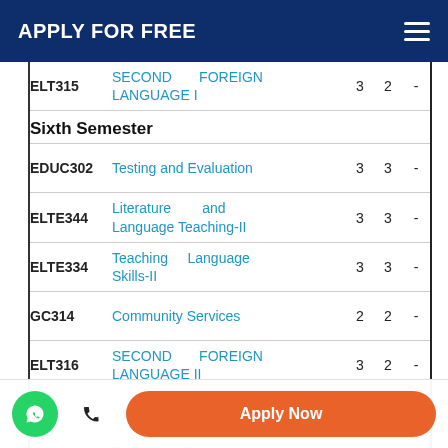APPLY FOR FREE
| Code | Course Name | Cr | Lec | Lab |
| --- | --- | --- | --- | --- |
| ELT315 | SECOND FOREIGN LANGUAGE I | 3 | 2 | - |
| Sixth Semester |  |  |  |  |
| EDUC302 | Testing and Evaluation | 3 | 3 | - |
| ELTE344 | Literature and Language Teaching-II | 3 | 3 | - |
| ELTE334 | Teaching Language Skills-II | 3 | 3 | - |
| GC314 | Community Services | 2 | 2 | - |
| ELT316 | SECOND FOREIGN LANGUAGE II | 3 | 2 | - |
|  | Young Learners-II | 3 |  | - |
|  | Translation Teaching... |  |  |  |